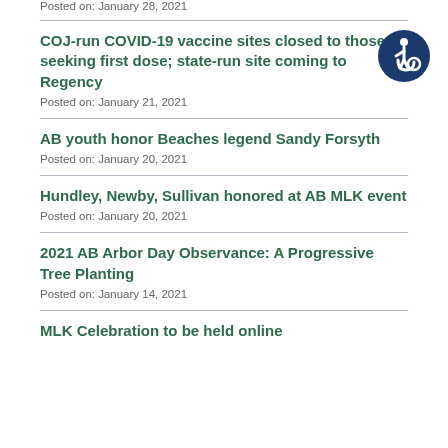Posted on: January 28, 2021
[Figure (illustration): Blue circle accessibility icon with wheelchair symbol]
COJ-run COVID-19 vaccine sites closed to those seeking first dose; state-run site coming to Regency
Posted on: January 21, 2021
AB youth honor Beaches legend Sandy Forsyth
Posted on: January 20, 2021
Hundley, Newby, Sullivan honored at AB MLK event
Posted on: January 20, 2021
2021 AB Arbor Day Observance: A Progressive Tree Planting
Posted on: January 14, 2021
MLK Celebration to be held online